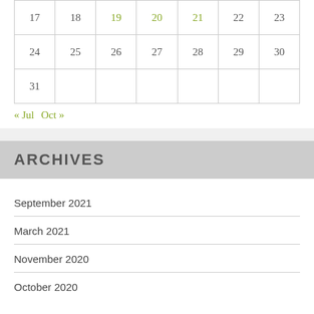| 17 | 18 | 19 | 20 | 21 | 22 | 23 |
| 24 | 25 | 26 | 27 | 28 | 29 | 30 |
| 31 |  |  |  |  |  |  |
« Jul  Oct »
ARCHIVES
September 2021
March 2021
November 2020
October 2020